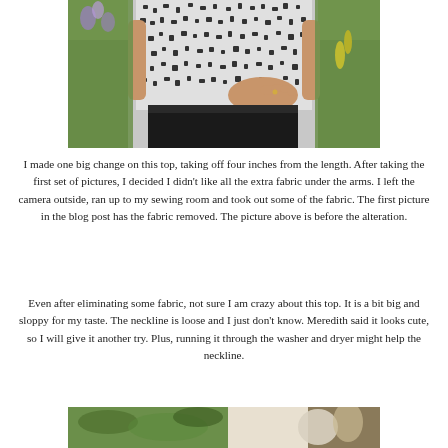[Figure (photo): A woman wearing a black and white patterned short-sleeve top and black pants, posing outdoors with one hand on her hip. Background shows green garden foliage.]
I made one big change on this top, taking off four inches from the length.  After taking the first set of pictures, I decided I didn't like all the  extra fabric under the arms.  I left the camera outside, ran up to my sewing room and took out some of the fabric.  The first picture in the blog post has the fabric removed.  The picture above is before the alteration.
Even after eliminating some fabric, not sure I am crazy about this top.  It is a bit big and sloppy for my taste.  The neckline is loose and I just don't know.  Meredith said it looks cute, so I will give it another try.  Plus, running it through the washer and dryer might help the neckline.
[Figure (photo): Partial view of outdoor garden scene, bottom of page.]